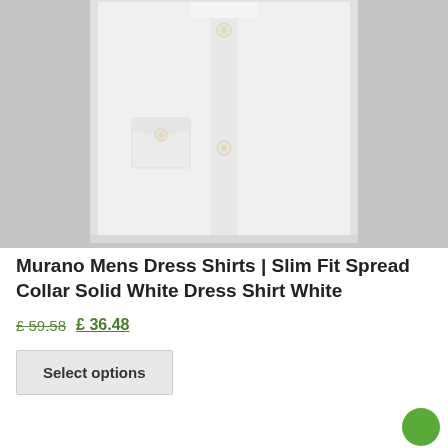[Figure (photo): White dress shirt folded flat on gray background, showing collar, front placket with buttons, and breast pocket with button]
Murano Mens Dress Shirts | Slim Fit Spread Collar Solid White Dress Shirt White
£ 59.58  £ 36.48
Select options